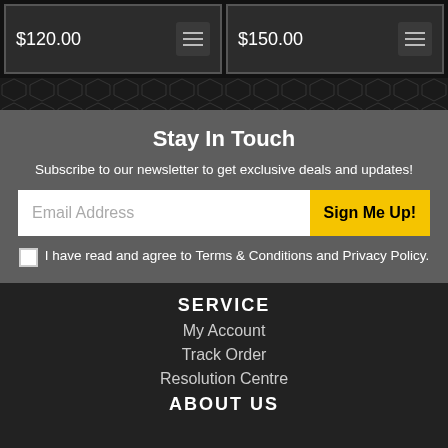$120.00
$150.00
Stay In Touch
Subscribe to our newsletter to get exclusive deals and updates!
Email Address
Sign Me Up!
I have read and agree to Terms & Conditions and Privacy Policy.
SERVICE
My Account
Track Order
Resolution Centre
ABOUT US